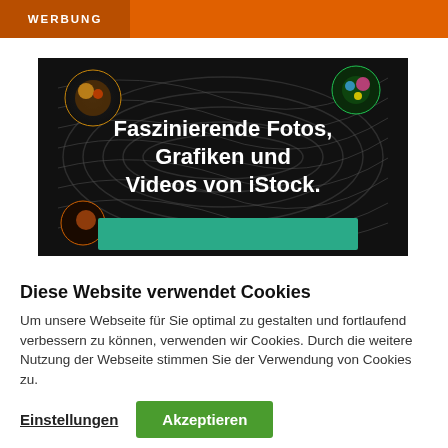WERBUNG
[Figure (illustration): iStock advertisement banner with fractal swirl background and text: 'Faszinierende Fotos, Grafiken und Videos von iStock.' with a teal call-to-action button at the bottom.]
Diese Website verwendet Cookies
Um unsere Webseite für Sie optimal zu gestalten und fortlaufend verbessern zu können, verwenden wir Cookies. Durch die weitere Nutzung der Webseite stimmen Sie der Verwendung von Cookies zu.
Einstellungen
Akzeptieren